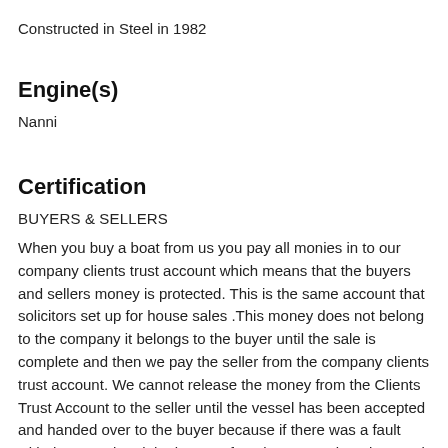Constructed in Steel in 1982
Engine(s)
Nanni
Certification
BUYERS & SELLERS
When you buy a boat from us you pay all monies in to our company clients trust account which means that the buyers and sellers money is protected. This is the same account that solicitors set up for house sales .This money does not belong to the company it belongs to the buyer until the sale is complete and then we pay the seller from the company clients trust account. We cannot release the money from the Clients Trust Account to the seller until the vessel has been accepted and handed over to the buyer because if there was a fault with the vessel and the buyer refused to accept it and wanted their money